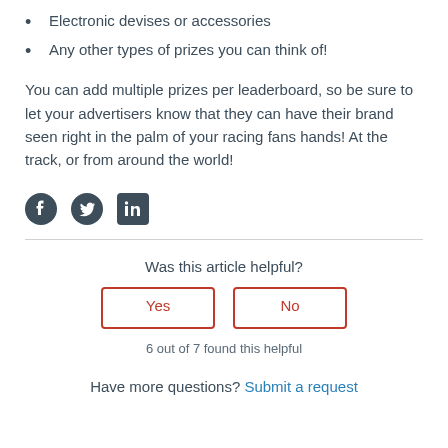Electronic devises or accessories
Any other types of prizes you can think of!
You can add multiple prizes per leaderboard, so be sure to let your advertisers know that they can have their brand seen right in the palm of your racing fans hands! At the track, or from around the world!
[Figure (infographic): Social media share icons: Facebook, Twitter, LinkedIn]
Was this article helpful?
Yes | No (buttons)
6 out of 7 found this helpful
Have more questions? Submit a request